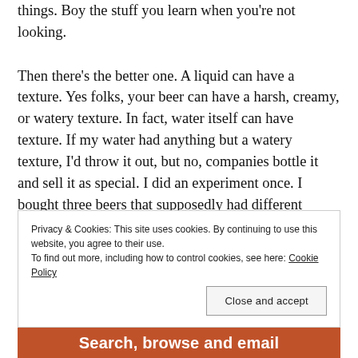things. Boy the stuff you learn when you're not looking.
Then there's the better one. A liquid can have a texture. Yes folks, your beer can have a harsh, creamy, or watery texture. In fact, water itself can have texture. If my water had anything but a watery texture, I'd throw it out, but no, companies bottle it and sell it as special. I did an experiment once. I bought three beers that supposedly had different textures. I stuck my finger in them to feel their texture. It went pretty quick, and was a complete failure. They all felt like beer to me. So, I
Privacy & Cookies: This site uses cookies. By continuing to use this website, you agree to their use.
To find out more, including how to control cookies, see here: Cookie Policy
Close and accept
Search, browse and email